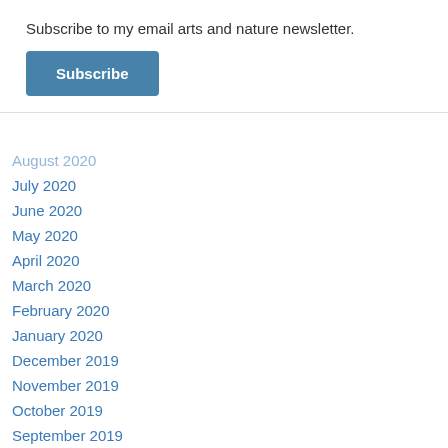Subscribe to my email arts and nature newsletter.
Subscribe
August 2020
July 2020
June 2020
May 2020
April 2020
March 2020
February 2020
January 2020
December 2019
November 2019
October 2019
September 2019
August 2019
July 2019
June 2019
May 2019